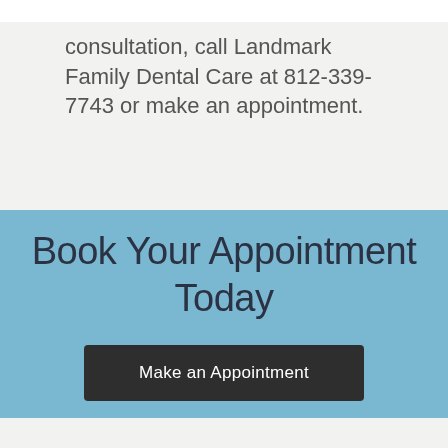consultation, call Landmark Family Dental Care at 812-339-7743 or make an appointment.
Book Your Appointment Today
Make an Appointment
DENTAL IMAGING